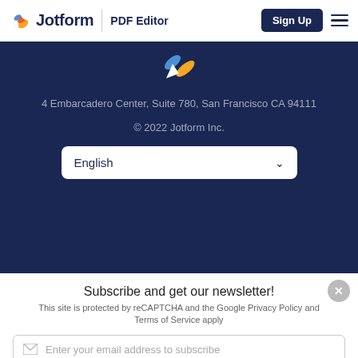Jotform | PDF Editor — Sign Up
[Figure (logo): Jotform logo with colorful icon and text, PDF Editor label, Sign Up button and hamburger menu]
4 Embarcadero Center, Suite 780, San Francisco CA 94111
© 2022 Jotform Inc.
English
Subscribe and get our newsletter!
This site is protected by reCAPTCHA and the Google Privacy Policy and Terms of Service apply
Enter your email address to subscribe
Subscribe Now